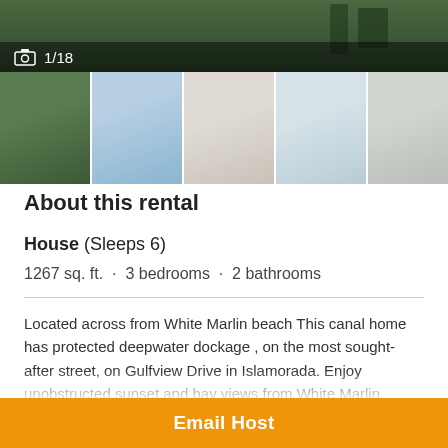[Figure (photo): Hero aerial/waterway photo with dark overlay showing photo count 1/18]
[Figure (photo): Thumbnail strip of 6 property photos]
About this rental
House (Sleeps 6)
1267 sq. ft.  ·  3 bedrooms  ·  2 bathrooms
Located across from White Marlin beach This canal home has protected deepwater dockage , on the most sought-after street, on Gulfview Drive in Islamorada. Enjoy unobstructed sunset and bay views from White Marlin Beach. Gulfview, known as the 'sugar sand beach' offers 3
Email Host